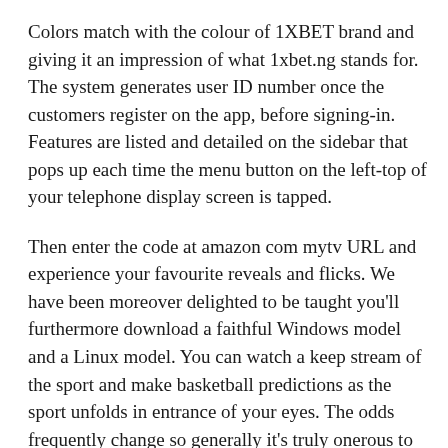Colors match with the colour of 1XBET brand and giving it an impression of what 1xbet.ng stands for. The system generates user ID number once the customers register on the app, before signing-in. Features are listed and detailed on the sidebar that pops up each time the menu button on the left-top of your telephone display screen is tapped.
Then enter the code at amazon com mytv URL and experience your favourite reveals and flicks. We have been moreover delighted to be taught you'll furthermore download a faithful Windows model and a Linux model. You can watch a keep stream of the sport and make basketball predictions as the sport unfolds in entrance of your eyes. The odds frequently change so generally it's truly onerous to get correct basketball concepts. The distinction with parlays and teasers is that on this case, you must accurately predict the top results of two or further games.